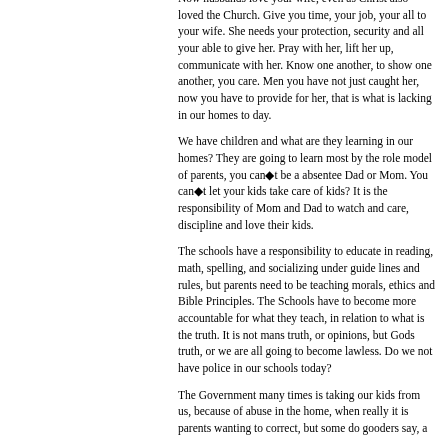Now husbands love your wife, even as Christ also loved the Church. Give you time, your job, your all to your wife. She needs your protection, security and all your able to give her. Pray with her, lift her up, communicate with her. Know one another, to show one another, you care. Men you have not just caught her, now you have to provide for her, that is what is lacking in our homes to day.
We have children and what are they learning in our homes? They are going to learn most by the role model of parents, you can�t be a absentee Dad or Mom. You can�t let your kids take care of kids? It is the responsibility of Mom and Dad to watch and care, discipline and love their kids.
The schools have a responsibility to educate in reading, math, spelling, and socializing under guide lines and rules, but parents need to be teaching morals, ethics and Bible Principles. The Schools have to become more accountable for what they teach, in relation to what is the truth. It is not mans truth, or opinions, but Gods truth, or we are all going to become lawless. Do we not have police in our schools today?
The Government many times is taking our kids from us, because of abuse in the home, when really it is parents wanting to correct, but some do gooders say, a